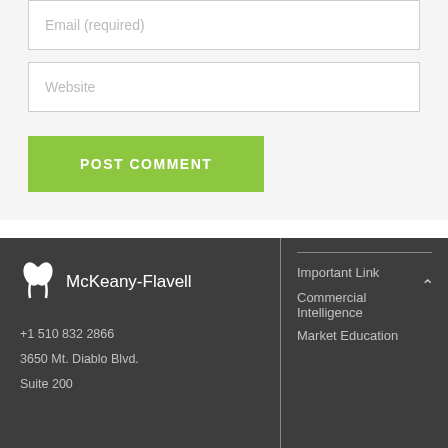Email (required)
Website
POST COMMENT
McKeany-Flavell | +1 510 832 2866 | 3650 Mt. Diablo Blvd. | Suite 200 | Important Link | Commercial Intelligence | Market Education